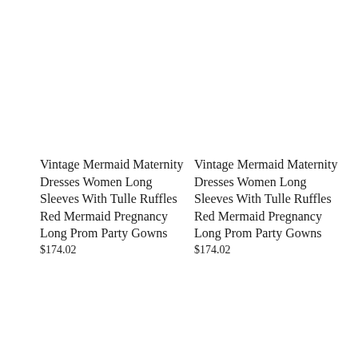Vintage Mermaid Maternity Dresses Women Long Sleeves With Tulle Ruffles Red Mermaid Pregnancy Long Prom Party Gowns $174.02
Vintage Mermaid Maternity Dresses Women Long Sleeves With Tulle Ruffles Red Mermaid Pregnancy Long Prom Party Gowns $174.02